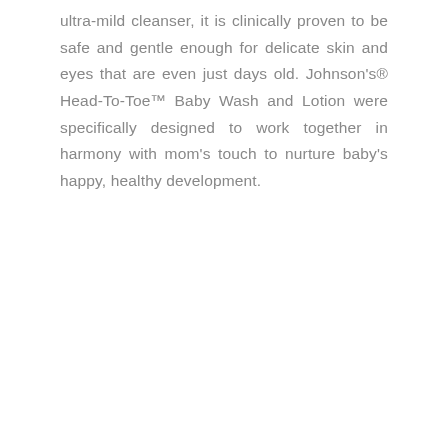ultra-mild cleanser, it is clinically proven to be safe and gentle enough for delicate skin and eyes that are even just days old. Johnson's® Head-To-Toe™ Baby Wash and Lotion were specifically designed to work together in harmony with mom's touch to nurture baby's happy, healthy development.